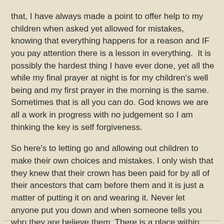that, I have always made a point to offer help to my children when asked yet allowed for mistakes, knowing that everything happens for a reason and IF you pay attention there is a lesson in everything.  It is possibly the hardest thing I have ever done, yet all the while my final prayer at night is for my children's well being and my first prayer in the morning is the same. Sometimes that is all you can do. God knows we are all a work in progress with no judgement so I am thinking the key is self forgiveness.
So here's to letting go and allowing out children to make their own choices and mistakes. I only wish that they knew that their crown has been paid for by all of their ancestors that cam before them and it is just a matter of putting it on and wearing it. Never let anyone put you down and when someone tells you who they are believe them. There is a place within you that is sacred. Go there. In your heart, you know what is best for you. Do it.
- - - - - - - - - - - - - - - - - - - - - - - - - - - - - - - - - - - - - - -